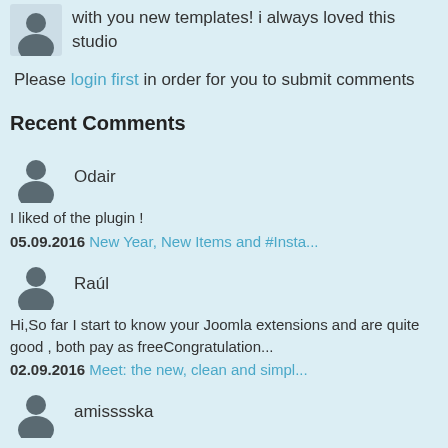with you new templates! i always loved this studio
Please login first in order for you to submit comments
Recent Comments
Odair
I liked of the plugin !
05.09.2016 New Year, New Items and #Insta...
Raúl
Hi,So far I start to know your Joomla extensions and are quite good , both pay as freeCongratulation...
02.09.2016 Meet: the new, clean and simpl...
amisssska